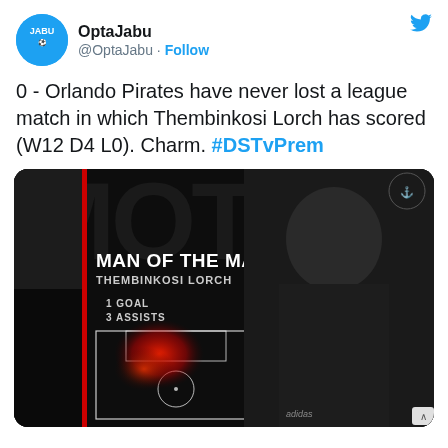[Figure (screenshot): Twitter/X profile header: avatar circle with 'JABU' text on blue background, display name 'OptaJabu', handle '@OptaJabu · Follow', Twitter bird icon top right]
0 - Orlando Pirates have never lost a league match in which Thembinkosi Lorch has scored (W12 D4 L0). Charm. #DSTvPrem
[Figure (photo): Man of the Match graphic card on dark background featuring Thembinkosi Lorch. Text reads 'MAN OF THE MATCH', 'THEMBINKOSI LORCH', '1 GOAL', '3 ASSISTS'. Shows a heat map of pitch activity and player photo in Orlando Pirates kit.]